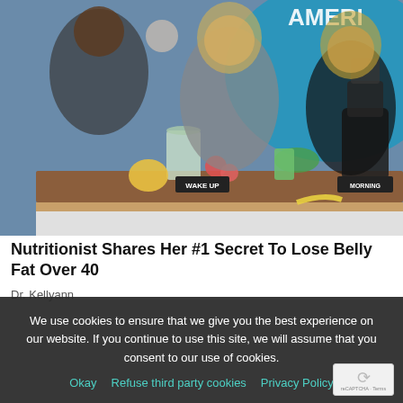[Figure (photo): TV studio scene with women standing behind a table displaying food items including smoothies, fruits and vegetables, a blender, and signs reading WAKE UP, MORNING, AFTERNOON. Background shows a blue circular GMA (Good Morning America) logo. Three women are visible, one in grey sweater, one in black, one in background.]
Nutritionist Shares Her #1 Secret To Lose Belly Fat Over 40
Dr. Kellyann
We use cookies to ensure that we give you the best experience on our website. If you continue to use this site, we will assume that you consent to our use of cookies.
Okay   Refuse third party cookies   Privacy Policy